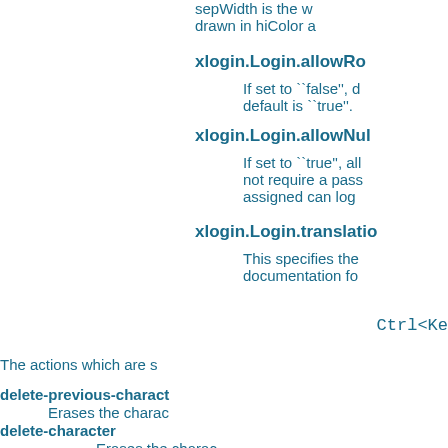sepWidth is the w drawn in hiColor a
xlogin.Login.allowRo
If set to ``false'', d default is ``true''.
xlogin.Login.allowNul
If set to ``true'', all not require a pass assigned can log
xlogin.Login.translatio
This specifies the documentation fo
Ctrl<Ke
The actions which are s
delete-previous-charact
Erases the charac
delete-character
Erases the charac
move-backward-chara
Moves the cursor
move-forward-characte